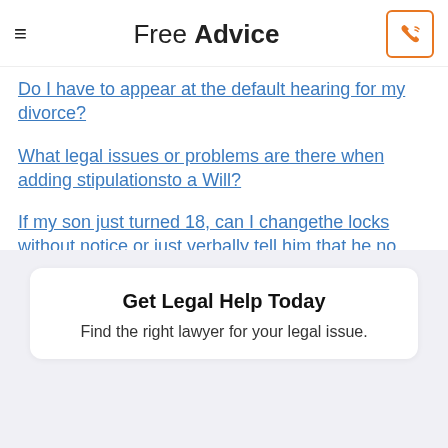Free Advice
Do I have to appear at the default hearing for my divorce?
What legal issues or problems are there when adding stipulationsto a Will?
If my son just turned 18, can I changethe locks without notice or just verbally tell him that he no longer has access to my house?
Get Legal Help Today
Find the right lawyer for your legal issue.